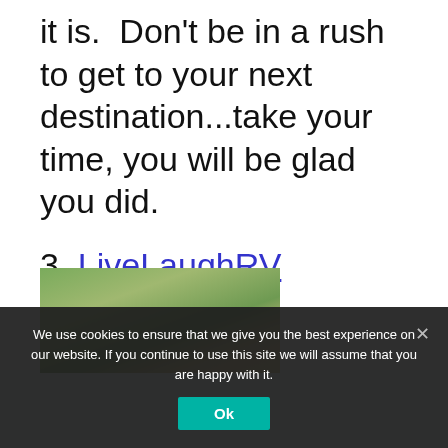it is.  Don't be in a rush to get to your next destination...take your time, you will be glad you did.
3.  LiveLaughRV
[Figure (photo): Outdoor photo of two people in front of green trees.]
We use cookies to ensure that we give you the best experience on our website. If you continue to use this site we will assume that you are happy with it.